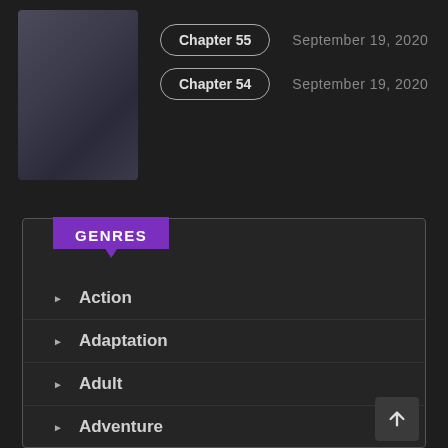[Figure (photo): Book or manga cover image thumbnail, dark toned illustration of a figure]
Chapter 55    September 19, 2020
Chapter 54    September 19, 2020
GENRES
Action
Adaptation
Adult
Adventure
Anime
Based on a Novel
Cartoon